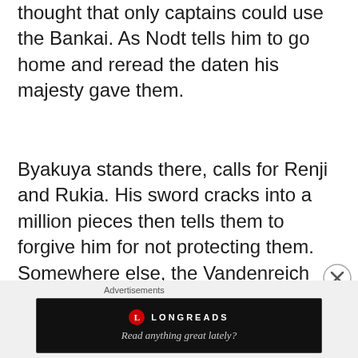thought that only captains could use the Bankai. As Nodt tells him to go home and reread the daten his majesty gave them.
Byakuya stands there, calls for Renji and Rukia. His sword cracks into a million pieces then tells them to forgive him for not protecting them. Somewhere else, the Vandenreich Leader and an Unnamed Stern Ritter notices that Byakuya Kuchiki has died. The Stern Ritter member tells the Leader that it's dragging on as thought, the Leader tells him that their Stern Ritter's are too permissive, it's only their fault.
The L...
[Figure (other): Longreads advertisement banner with logo and tagline 'Read anything great lately?' on a dark background]